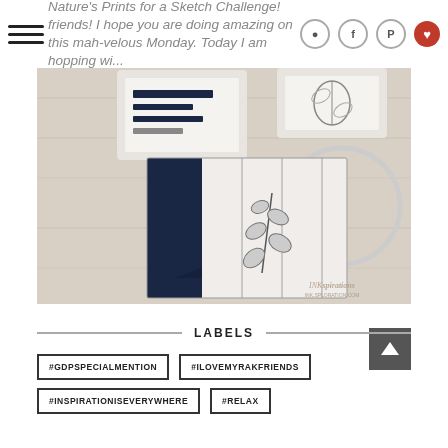Nature's Prints for a Sketch Challenge! friends! I hope you are doing amazing on this mah-velous Monday. Today I am hopping wi...
[Figure (photo): Close-up photo of handmade stamped greeting cards featuring botanical leaf/eucalyptus designs in navy blue and white, with stamp blocks in background, on a wood surface. Watermark reads 'INKspirations'.]
LABELS
#GDPSPECIALMENTION
#ILOVEMYRAKFRIENDS
#INSPIRATIONISEVERYWHERE
#RELAX